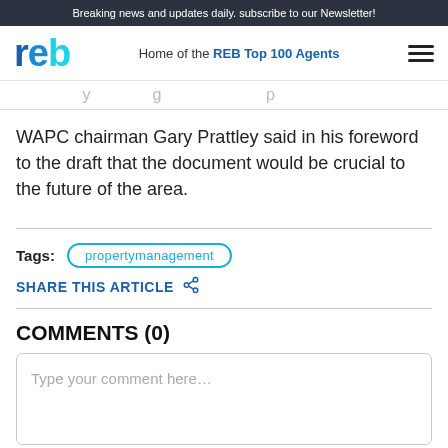Breaking news and updates daily. subscribe to our Newsletter!
reb — Home of the REB Top 100 Agents
WAPC chairman Gary Prattley said in his foreword to the draft that the document would be crucial to the future of the area.
Tags: propertymanagement
SHARE THIS ARTICLE
COMMENTS (0)
Type your comment here...